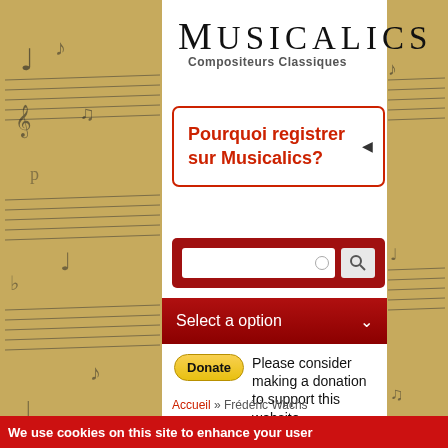[Figure (screenshot): Musicalics website screenshot showing header with logo, subtitle 'Compositeurs Classiques', a red-bordered box asking 'Pourquoi registrer sur Musicalics?', a dark red search bar, a navigation dropdown 'Select a option', a donate button with PayPal styling and text 'Please consider making a donation to support this website.', breadcrumb 'Accueil » Frédéric Wachs', and a red cookie banner at the bottom.]
Musicalics
Compositeurs Classiques
Pourquoi registrer sur Musicalics?
Select a option
Please consider making a donation to support this website.
Accueil » Frédéric Wachs
We use cookies on this site to enhance your user